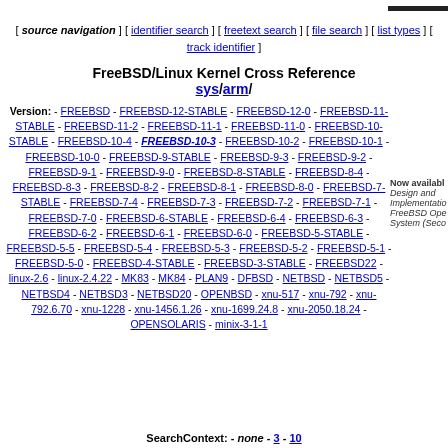[ source navigation ] [ identifier search ] [ freetext search ] [ file search ] [ list types ] [ track identifier ]
FreeBSD/Linux Kernel Cross Reference sys/arm/
Version: - FREEBSD - FREEBSD-12-STABLE - FREEBSD-12-0 - FREEBSD-11-STABLE - FREEBSD-11-2 - FREEBSD-11-1 - FREEBSD-11-0 - FREEBSD-10-STABLE - FREEBSD-10-4 - FREEBSD-10-3 - FREEBSD-10-2 - FREEBSD-10-1 - FREEBSD-10-0 - FREEBSD-9-STABLE - FREEBSD-9-3 - FREEBSD-9-2 - FREEBSD-9-1 - FREEBSD-9-0 - FREEBSD-8-STABLE - FREEBSD-8-4 - FREEBSD-8-3 - FREEBSD-8-2 - FREEBSD-8-1 - FREEBSD-8-0 - FREEBSD-7-STABLE - FREEBSD-7-4 - FREEBSD-7-3 - FREEBSD-7-2 - FREEBSD-7-1 - FREEBSD-7-0 - FREEBSD-6-STABLE - FREEBSD-6-4 - FREEBSD-6-3 - FREEBSD-6-2 - FREEBSD-6-1 - FREEBSD-6-0 - FREEBSD-5-STABLE - FREEBSD-5-5 - FREEBSD-5-4 - FREEBSD-5-3 - FREEBSD-5-2 - FREEBSD-5-1 - FREEBSD-5-0 - FREEBSD-4-STABLE - FREEBSD-3-STABLE - FREEBSD22 - linux-2.6 - linux-2.4.22 - MK83 - MK84 - PLAN9 - DFBSD - NETBSD - NETBSD5 - NETBSD4 - NETBSD3 - NETBSD20 - OPENBSD - xnu-517 - xnu-792 - xnu-792.6.70 - xnu-1228 - xnu-1456.1.26 - xnu-1699.24.8 - xnu-2050.18.24 - OPENSOLARIS - minix-3-1-1
Now available: Design and Implementation FreeBSD Open System (Second...)
SearchContext: - none - 3 - 10